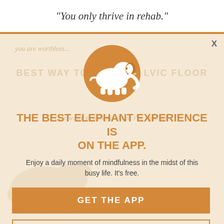“You only thrive in rehab.”
[Figure (logo): Elephant Journal app modal overlay with elephant logo circle icon, promotional text, and two call-to-action buttons on a warm beige background with faded background text]
THE BEST ELEPHANT EXPERIENCE IS ON THE APP.
Enjoy a daily moment of mindfulness in the midst of this busy life. It’s free.
GET THE APP
OPEN IN APP